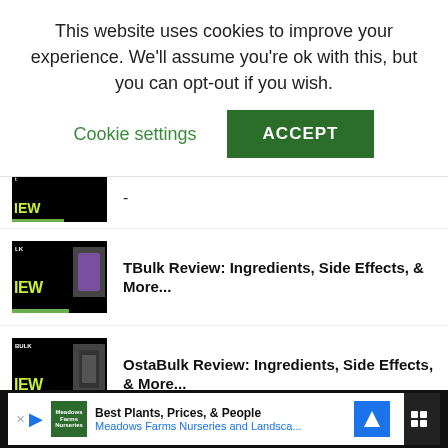This website uses cookies to improve your experience. We'll assume you're ok with this, but you can opt-out if you wish.
Cookie settings | ACCEPT
[Figure (screenshot): Partial thumbnail of a review article, dark background with green accents]
-
[Figure (screenshot): Thumbnail for TBulk Review article, dark background with green IEW text and supplement bottle image]
TBulk Review: Ingredients, Side Effects, & More...
[Figure (screenshot): Thumbnail for OstaBulk Review article, dark background with green IEW text and supplement bottle image]
OstaBulk Review: Ingredients, Side Effects, & More...
[Figure (screenshot): Partial thumbnail for SBulk Review article]
SBulk Review: Ingredients, Side Effects, & More...
Best Plants, Prices, & People
Meadows Farms Nurseries and Landsca...